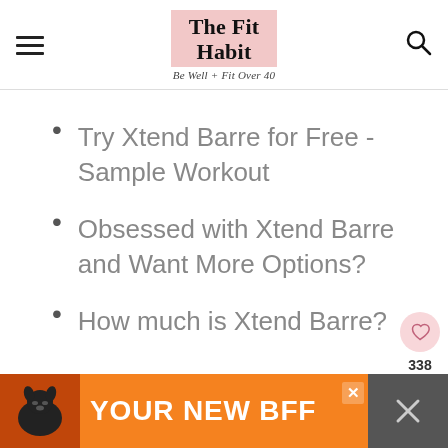The Fit Habit — Be Well + Fit Over 40
Try Xtend Barre for Free - Sample Workout
Obsessed with Xtend Barre and Want More Options?
How much is Xtend Barre?
[Figure (screenshot): Orange advertisement banner at the bottom reading YOUR NEW BFF with a dog photo on the left side]